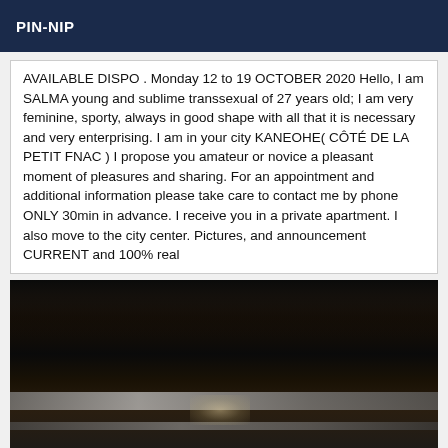PIN-NIP
AVAILABLE DISPO . Monday 12 to 19 OCTOBER 2020 Hello, I am SALMA young and sublime transsexual of 27 years old; I am very feminine, sporty, always in good shape with all that it is necessary and very enterprising. I am in your city KANEOHE( CÔTÉ DE LA PETIT FNAC ) I propose you amateur or novice a pleasant moment of pleasures and sharing. For an appointment and additional information please take care to contact me by phone ONLY 30min in advance. I receive you in a private apartment. I also move to the city center. Pictures, and announcement CURRENT and 100% real
[Figure (photo): Dark photograph showing what appears to be metal bars or rails in a dimly lit indoor setting]